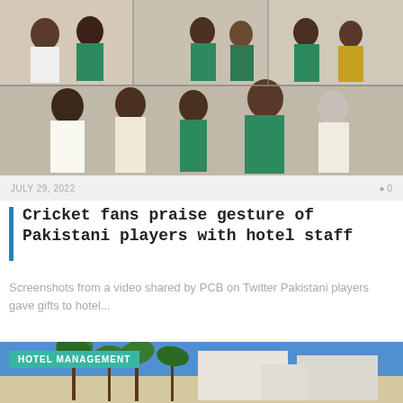[Figure (photo): Collage of screenshots from a video showing Pakistani cricket players interacting with hotel staff, multiple panels showing players in green uniforms giving gifts or talking with staff]
JULY 29, 2022   0
Cricket fans praise gesture of Pakistani players with hotel staff
Screenshots from a video shared by PCB on Twitter Pakistani players gave gifts to hotel...
[Figure (photo): Hotel building exterior with palm trees under a blue sky, with a teal 'HOTEL MANAGEMENT' label overlay in the upper left]